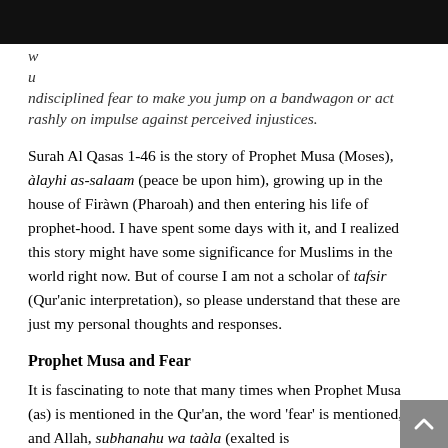[Figure (photo): Dark/black image at top of page, partially cropped]
w
u
ndisciplined fear to make you jump on a bandwagon or act rashly on impulse against perceived injustices.
Surah Al Qasas 1-46 is the story of Prophet Musa (Moses), àlayhi as-salaam (peace be upon him), growing up in the house of Firàwn (Pharoah) and then entering his life of prophet-hood. I have spent some days with it, and I realized this story might have some significance for Muslims in the world right now. But of course I am not a scholar of tafsir (Qur'anic interpretation), so please understand that these are just my personal thoughts and responses.
Prophet Musa and Fear
It is fascinating to note that many times when Prophet Musa (as) is mentioned in the Qur'an, the word 'fear' is mentioned, and Allah, subhanahu wa taàla (exalted is